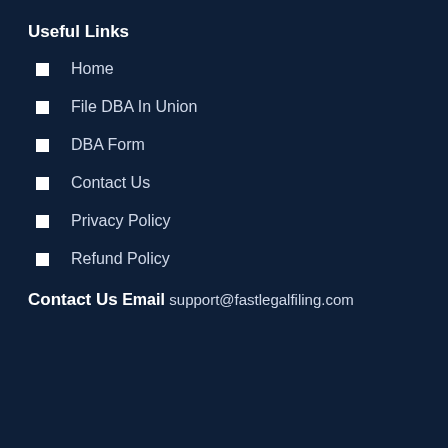Useful Links
Home
File DBA In Union
DBA Form
Contact Us
Privacy Policy
Refund Policy
Contact Us
Email
support@fastlegalfiling.com